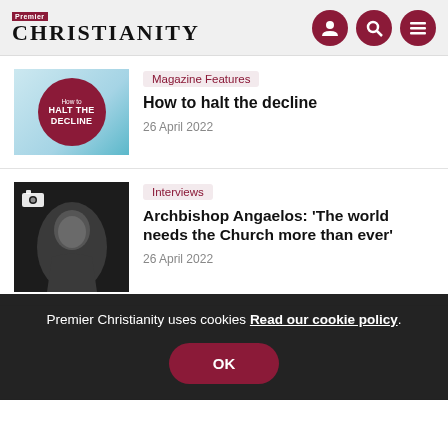Premier Christianity
[Figure (screenshot): Article thumbnail: red circular badge on light blue background reading 'How to HALT THE DECLINE']
Magazine Features
How to halt the decline
26 April 2022
[Figure (photo): Black and white photo of Archbishop Angaelos smiling, camera icon overlay]
Interviews
Archbishop Angaelos: ‘The world needs the Church more than ever’
26 April 2022
Premier Christianity uses cookies Read our cookie policy. OK